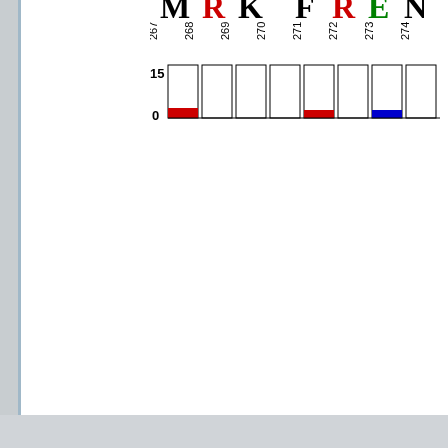[Figure (other): Partial sequence logo (WebLogo) showing residues MRK FREN at positions 267-274, with bar chart below showing conservation scores (0-15). Red and blue colored bars at certain positions.]
[Figure (other): Sequence logo (WebLogo) showing residues LEERR at positions 305-309, with bar chart below showing conservation scores (0-15). Blue colored bars at positions 306 and 308.]
Weblogos are Copyright